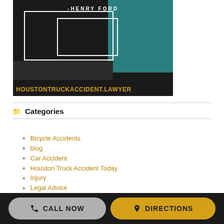[Figure (illustration): Dark background website banner image with white rectangles/frames, teal block, and text '-HENRY FORD' in white. Bottom shows 'HOUSTONTRUCKACCIDENT.LAWYER' in gold/yellow text on dark background.]
Categories
Bicycle Accidents
blog
Car Accident
Houston Truck Accident Today
Injury
Legal Advice
Local news
Motorcycle Accident
National News
News
Pedestrian Accident
Truck Accident
Wreck
CALL NOW   DIRECTIONS